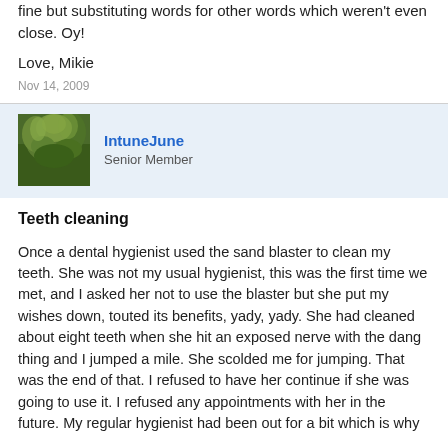fine but substituting words for other words which weren't even close. Oy!
Love, Mikie
Nov 14, 2009
IntuneJune
Senior Member
Teeth cleaning
Once a dental hygienist used the sand blaster to clean my teeth. She was not my usual hygienist, this was the first time we met, and I asked her not to use the blaster but she put my wishes down, touted its benefits, yady, yady. She had cleaned about eight teeth when she hit an exposed nerve with the dang thing and I jumped a mile. She scolded me for jumping. That was the end of that. I refused to have her continue if she was going to use it. I refused any appointments with her in the future. My regular hygienist had been out for a bit which is why